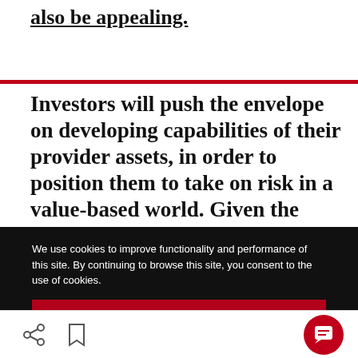also be appealing.
Investors will push the envelope on developing capabilities of their provider assets, in order to position them to take on risk in a value-based world. Given the high multiples for scale assets, more investors may pursue a buy-and-build approach.
We use cookies to improve functionality and performance of this site. By continuing to browse this site, you consent to the use of cookies.
ACCEPT ALL COOKIES